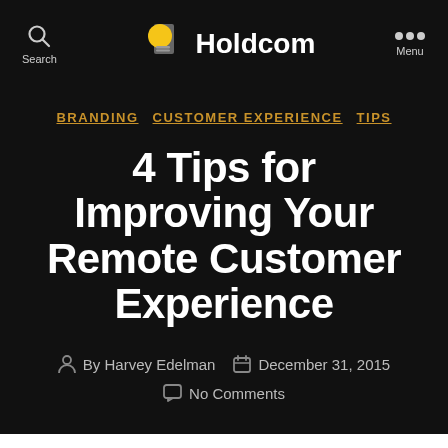Search  Holdcom  Menu
BRANDING  CUSTOMER EXPERIENCE  TIPS
4 Tips for Improving Your Remote Customer Experience
By Harvey Edelman  December 31, 2015  No Comments